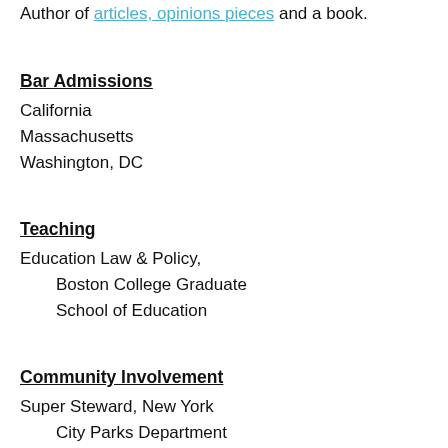Author of articles, opinions pieces and a book.
Bar Admissions
California
Massachusetts
Washington, DC
Teaching
Education Law & Policy,
    Boston College Graduate
    School of Education
Community Involvement
Super Steward, New York
    City Parks Department
PROFILE
Award-winning communications and campaign strategist, foundation director, corporate philanthropy leader, startup chief of staff, Transportation and